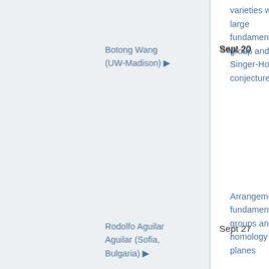| Date | Speaker | Title |
| --- | --- | --- |
| Sept 20 | Botong Wang (UW-Madison) | sheaves on varieties with large fundamental group and the Singer-Hopf conjecture |
| Sept 27 | Rodolfo Aguilar Aguilar (Sofia, Bulgaria) | Arrangements fundamental groups and homology planes |
| October 4 | Yongqiang Liu (USTC, China) | $L^2$-type invariants and cohomology jump loci for smooth complex quasi-projective |